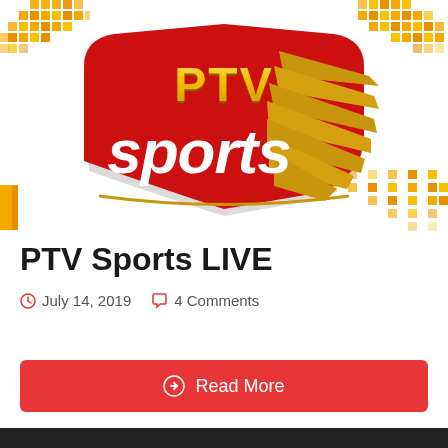[Figure (logo): PTV Sports logo with red shield shape, gold 'PTV' text above, white 'sports' text on red background, gold speed-line wing decoration on right side, yellow/gold pixel decorative patterns in corners]
PTV Sports LIVE
July 14, 2019   4 Comments
Read More